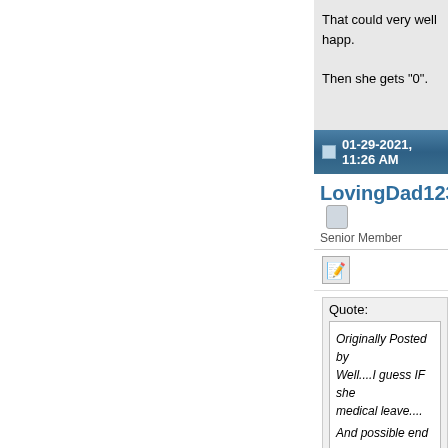That could very well happ.

Then she gets "0".
01-29-2021, 11:26 AM
LovingDad1234
Senior Member
Quote:
Originally Posted by
Well....I guess IF she medical leave....

And possible end up

That could very well

Then she gets "0".
It has nothing to do with c vacancy or position to fill. chooses, but by is no me.